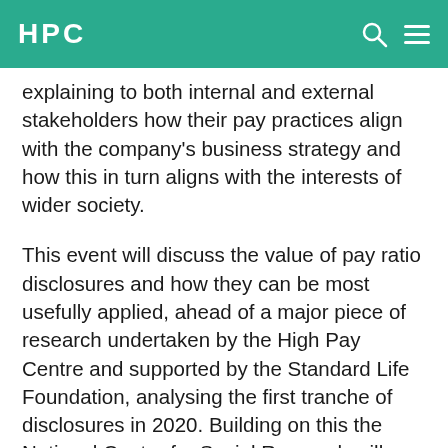HPC
explaining to both internal and external stakeholders how their pay practices align with the company's business strategy and how this in turn aligns with the interests of wider society.
This event will discuss the value of pay ratio disclosures and how they can be most usefully applied, ahead of a major piece of research undertaken by the High Pay Centre and supported by the Standard Life Foundation, analysing the first tranche of disclosures in 2020. Building on this the National Centre for Social Research will present new analysis of